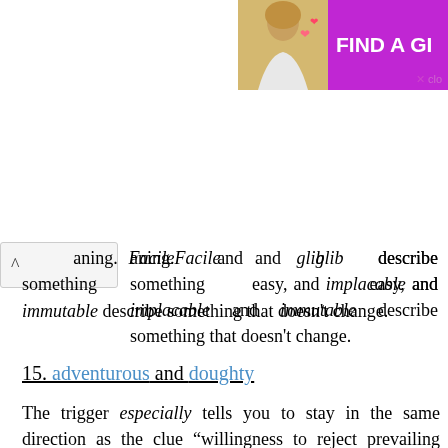[Figure (photo): Advertisement banner with a woman's photo and purple background reading FIND A GI... with a close button]
aning. Facile and glib describe something easy, and implacable and immutable describe something that doesn't change.
15. adventurous and doughty
The trigger especially tells you to stay in the same direction as the clue “willingness to reject prevailing feminine roles and travel to foreign lands alone.” Thus, she has a bold spirit.